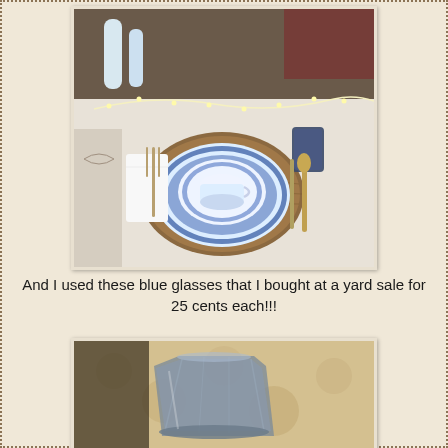[Figure (photo): A festive holiday table setting with blue and white china plates stacked on a round wooden charger, a teacup on top, gold cutlery on the right, a folded white napkin on the left, a dark blue glass, and a white centerpiece with fairy lights and small Christmas trees in the background.]
And I used these blue glasses that I bought at a yard sale for 25 cents each!!!
[Figure (photo): Close-up of a smoky blue/gray faceted glass tumbler sitting on a floral patterned tablecloth.]